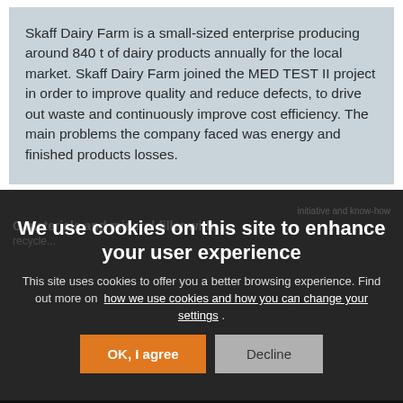Skaff Dairy Farm is a small-sized enterprise producing around 840 t of dairy products annually for the local market. Skaff Dairy Farm joined the MED TEST II project in order to improve quality and reduce defects, to drive out waste and continuously improve cost efficiency. The main problems the company faced was energy and finished products losses.
We use cookies on this site to enhance your user experience
This site uses cookies to offer you a better browsing experience. Find out more on how we use cookies and how you can change your settings .
OK, I agree
Decline
[Figure (photo): Dark background photo area with machinery/equipment visible in shadow]